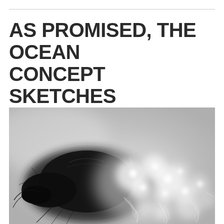AS PROMISED, THE OCEAN CONCEPT SKETCHES
[Figure (illustration): Black and white concept sketch of an ocean creature — a dark, beetle-like or crustacean-like form on the left with antennae/legs, and a blurred, glowing bokeh-like cluster of white orbs and delicate white curling lines on the right, suggesting bioluminescent sea life. The background is a textured grey halftone pattern.]